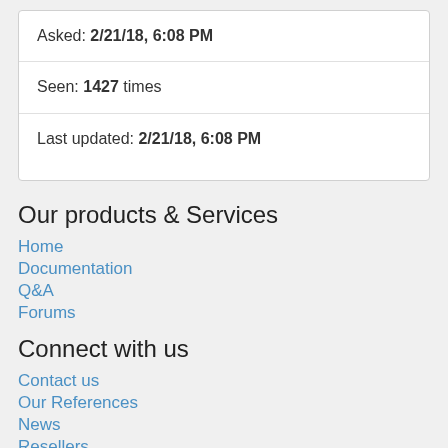Asked: 2/21/18, 6:08 PM
Seen: 1427 times
Last updated: 2/21/18, 6:08 PM
Our products & Services
Home
Documentation
Q&A
Forums
Connect with us
Contact us
Our References
News
Resellers
connect@industruino.com